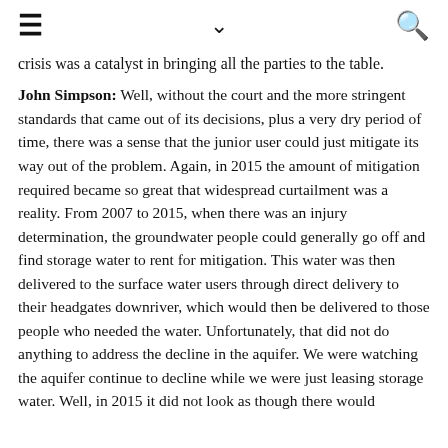≡  ∨  🔍
crisis was a catalyst in bringing all the parties to the table.
John Simpson: Well, without the court and the more stringent standards that came out of its decisions, plus a very dry period of time, there was a sense that the junior user could just mitigate its way out of the problem. Again, in 2015 the amount of mitigation required became so great that widespread curtailment was a reality. From 2007 to 2015, when there was an injury determination, the groundwater people could generally go off and find storage water to rent for mitigation. This water was then delivered to the surface water users through direct delivery to their headgates downriver, which would then be delivered to those people who needed the water. Unfortunately, that did not do anything to address the decline in the aquifer. We were watching the aquifer continue to decline while we were just leasing storage water. Well, in 2015 it did not look as though there would